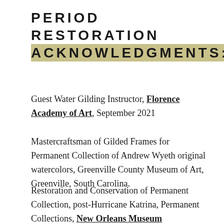PERIOD RESTORATION ACKNOWLEDGMENTS:
Guest Water Gilding Instructor, Florence Academy of Art, September 2021
Mastercraftsman of Gilded Frames for Permanent Collection of Andrew Wyeth original watercolors, Greenville County Museum of Art, Greenville, South Carolina.
Restoration and Conservation of Permanent Collection, post-Hurricane Katrina, Permanent Collections, New Orleans Museum